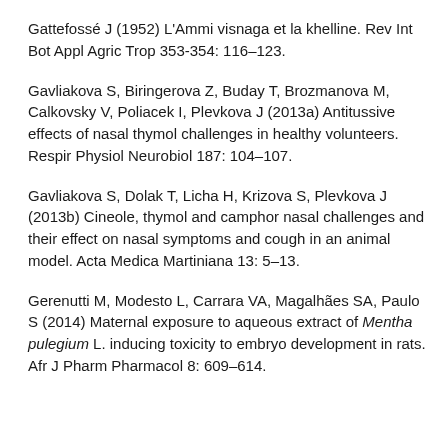Gattefossé J (1952) L'Ammi visnaga et la khelline. Rev Int Bot Appl Agric Trop 353-354: 116–123.
Gavliakova S, Biringerova Z, Buday T, Brozmanova M, Calkovsky V, Poliacek I, Plevkova J (2013a) Antitussive effects of nasal thymol challenges in healthy volunteers. Respir Physiol Neurobiol 187: 104–107.
Gavliakova S, Dolak T, Licha H, Krizova S, Plevkova J (2013b) Cineole, thymol and camphor nasal challenges and their effect on nasal symptoms and cough in an animal model. Acta Medica Martiniana 13: 5–13.
Gerenutti M, Modesto L, Carrara VA, Magalhães SA, Paulo S (2014) Maternal exposure to aqueous extract of Mentha pulegium L. inducing toxicity to embryo development in rats. Afr J Pharm Pharmacol 8: 609–614.